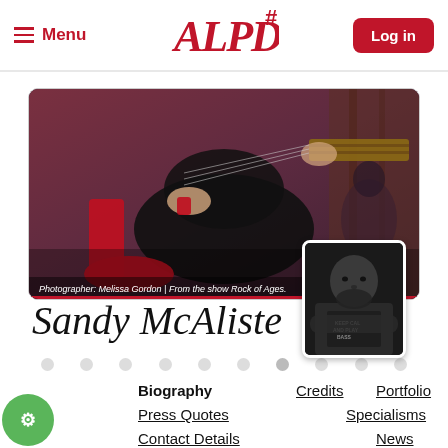Menu | ALPD# | Log in
[Figure (photo): Banner photo of a guitarist on stage with red shoes, with caption 'Photographer: Melissa Gordon | From the show Rock of Ages']
[Figure (photo): Black and white profile photo of Sandy McAlister, a bald man with a beard, arms crossed]
Sandy McAlister
Biography
Credits
Portfolio
Press Quotes
Specialisms
Contact Details
News
Sandy's involvement in the Arts began at an early age where he developed a love for theatre lighting. Sandy